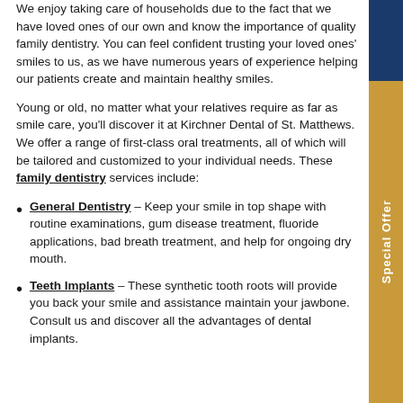We enjoy taking care of households due to the fact that we have loved ones of our own and know the importance of quality family dentistry. You can feel confident trusting your loved ones' smiles to us, as we have numerous years of experience helping our patients create and maintain healthy smiles.
Young or old, no matter what your relatives require as far as smile care, you'll discover it at Kirchner Dental of St. Matthews. We offer a range of first-class oral treatments, all of which will be tailored and customized to your individual needs. These family dentistry services include:
General Dentistry – Keep your smile in top shape with routine examinations, gum disease treatment, fluoride applications, bad breath treatment, and help for ongoing dry mouth.
Teeth Implants – These synthetic tooth roots will provide you back your smile and assistance maintain your jawbone. Consult us and discover all the advantages of dental implants.